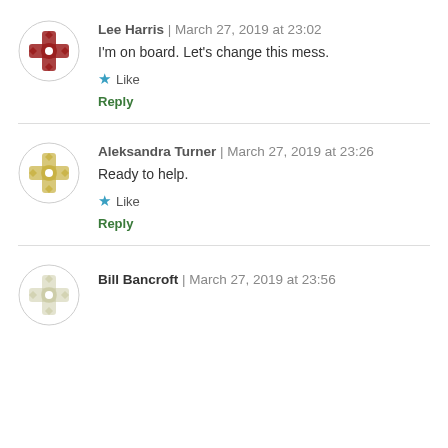Lee Harris | March 27, 2019 at 23:02
I'm on board. Let's change this mess.
★ Like
Reply
Aleksandra Turner | March 27, 2019 at 23:26
Ready to help.
★ Like
Reply
Bill Bancroft | March 27, 2019 at 23:56